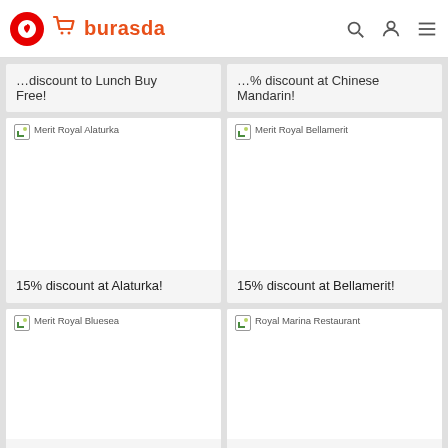Vodafone burasda
...% discount to Lunch Buy Free!
...% discount at Chinese Mandarin!
[Figure (photo): Merit Royal Alaturka restaurant image placeholder]
15% discount at Alaturka!
[Figure (photo): Merit Royal Bellamerit restaurant image placeholder]
15% discount at Bellamerit!
[Figure (photo): Merit Royal Bluesea restaurant image placeholder]
[Figure (photo): Royal Marina Restaurant image placeholder]